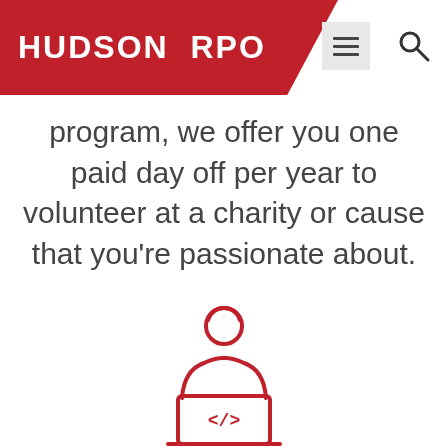Hudson RPO
program, we offer you one paid day off per year to volunteer at a charity or cause that you’re passionate about.
[Figure (illustration): Red outline icon of a person sitting at a laptop computer with code symbol </> on the screen]